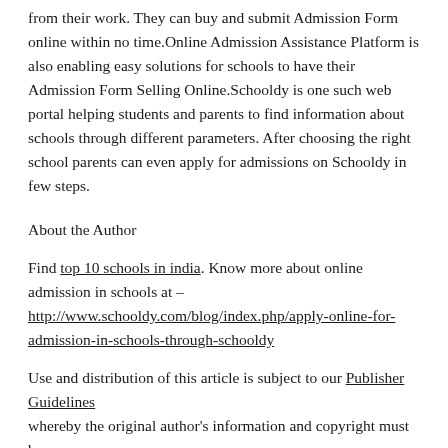from their work. They can buy and submit Admission Form online within no time.Online Admission Assistance Platform is also enabling easy solutions for schools to have their Admission Form Selling Online.Schooldy is one such web portal helping students and parents to find information about schools through different parameters. After choosing the right school parents can even apply for admissions on Schooldy in few steps.
About the Author
Find top 10 schools in india. Know more about online admission in schools at – http://www.schooldy.com/blog/index.php/apply-online-for-admission-in-schools-through-schooldy
Use and distribution of this article is subject to our Publisher Guidelines whereby the original author's information and copyright must be included.